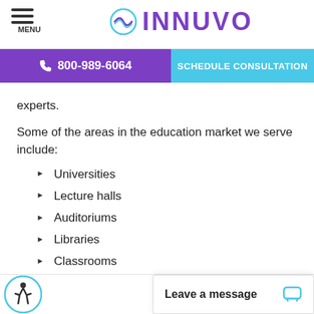MENU | INNUVO
☎ 800-989-6064 | SCHEDULE CONSULTATION
experts.
Some of the areas in the education market we serve include:
Universities
Lecture halls
Auditoriums
Libraries
Classrooms
Dormitory entry/exit points
Athletic facilities
Leave a message